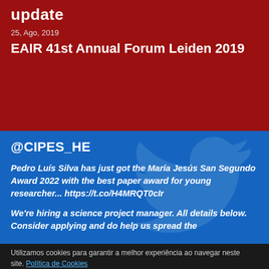update
25, Ago, 2019
EAIR 41st Annual Forum Leiden 2019
@CIPES_HE
Pedro Luís Silva has just got the María Jesús San Segundo Award 2022 with the best paper award for young researcher... https://t.co/H4MRQT0cIr
We're hiring a science project manager. All details below. Consider applying and do help us spread the
Utilizamos cookies para garantir a melhor experiência ao navegar neste site. Política de Cookies